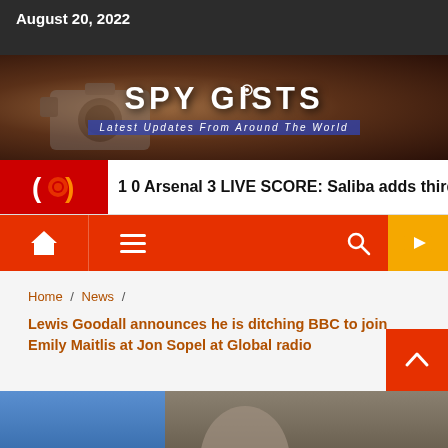August 20, 2022
[Figure (logo): SPY GISTS website banner logo — sepia-toned background with vintage camera, white bold text 'SPY GISTS' and italic subtitle 'Latest Updates From Around The World' on blue banner]
1 0 Arsenal 3 LIVE SCORE: Saliba adds third after Od
[Figure (infographic): Navigation bar with home icon, hamburger menu, search icon, and YouTube icon on orange/red background]
Home / News /
Lewis Goodall announces he is ditching BBC to join Emily Maitlis at Jon Sopel at Global radio
[Figure (photo): Partial photo of a person against a blue background, bottom of page]